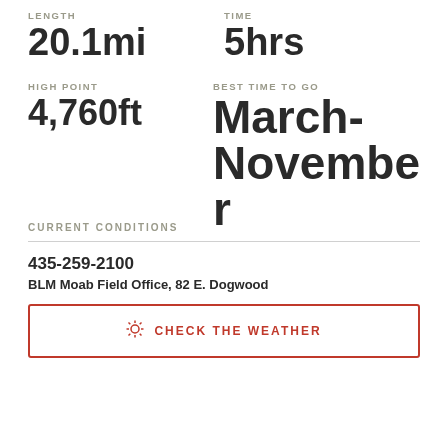LENGTH
20.1mi
TIME
5hrs
HIGH POINT
4,760ft
BEST TIME TO GO
March-November
CURRENT CONDITIONS
435-259-2100
BLM Moab Field Office, 82 E. Dogwood
CHECK THE WEATHER